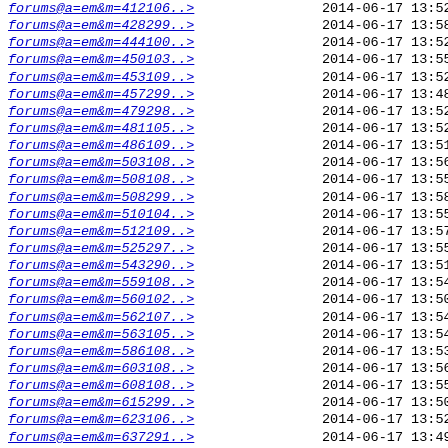| Link | Date | Time | Size |
| --- | --- | --- | --- |
| forums@a=em&m=412106..> | 2014-06-17 | 13:52 | 4.1K |
| forums@a=em&m=428299..> | 2014-06-17 | 13:58 | 4.4K |
| forums@a=em&m=444100..> | 2014-06-17 | 13:52 | 4.1K |
| forums@a=em&m=450103..> | 2014-06-17 | 13:55 | 4.4K |
| forums@a=em&m=453109..> | 2014-06-17 | 13:52 | 4.1K |
| forums@a=em&m=457299..> | 2014-06-17 | 13:48 | 4.1K |
| forums@a=em&m=479298..> | 2014-06-17 | 13:52 | 4.1K |
| forums@a=em&m=481105..> | 2014-06-17 | 13:52 | 4.1K |
| forums@a=em&m=486109..> | 2014-06-17 | 13:51 | 4.1K |
| forums@a=em&m=503108..> | 2014-06-17 | 13:56 | 4.4K |
| forums@a=em&m=508108..> | 2014-06-17 | 13:55 | 4.4K |
| forums@a=em&m=508299..> | 2014-06-17 | 13:58 | 4.4K |
| forums@a=em&m=510104..> | 2014-06-17 | 13:55 | 4.4K |
| forums@a=em&m=512109..> | 2014-06-17 | 13:57 | 4.4K |
| forums@a=em&m=525297..> | 2014-06-17 | 13:55 | 4.4K |
| forums@a=em&m=543290..> | 2014-06-17 | 13:51 | 4.1K |
| forums@a=em&m=559108..> | 2014-06-17 | 13:54 | 4.4K |
| forums@a=em&m=560102..> | 2014-06-17 | 13:50 | 4.1K |
| forums@a=em&m=562107..> | 2014-06-17 | 13:54 | 4.4K |
| forums@a=em&m=563105..> | 2014-06-17 | 13:54 | 4.1K |
| forums@a=em&m=586108..> | 2014-06-17 | 13:53 | 4.1K |
| forums@a=em&m=603108..> | 2014-06-17 | 13:56 | 4.4K |
| forums@a=em&m=608108..> | 2014-06-17 | 13:55 | 4.4K |
| forums@a=em&m=615299..> | 2014-06-17 | 13:50 | 4.1K |
| forums@a=em&m=623106..> | 2014-06-17 | 13:52 | 4.1K |
| forums@a=em&m=637291..> | 2014-06-17 | 13:49 | 4.1K |
| forums@a=em&m=642104..> | 2014-06-17 | 13:52 | 4.1K |
| forums@a=em&m=649292..> | 2014-06-17 | 13:50 | 4.1K |
| forums@a=em&m=653102..> | 2014-06-17 | 13:50 | 4.1K |
| forums@a=em&m=673107..> | 2014-06-17 | 13:54 | 4.4K |